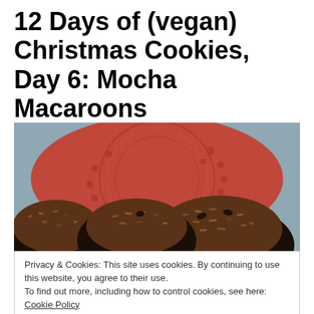12 Days of (vegan) Christmas Cookies, Day 6: Mocha Macaroons
[Figure (photo): Close-up photo of chocolate-dipped coconut macaroons with coffee bean garnishes on a red decorative doily background]
Privacy & Cookies: This site uses cookies. By continuing to use this website, you agree to their use.
To find out more, including how to control cookies, see here: Cookie Policy
Close and accept